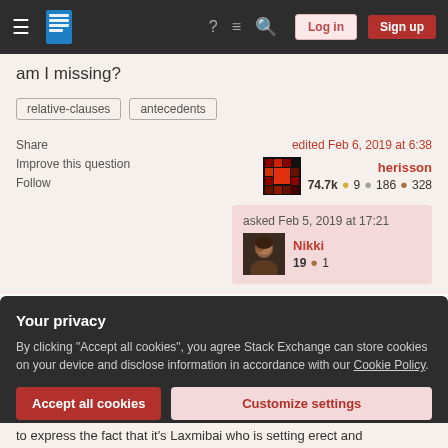Stack Exchange navigation bar with Log in and Sign up buttons
am I missing?
relative-clauses
antecedents
Share
Improve this question
Follow
edited Feb 6, 2019 at 6:38
herisson
74.7k ●9 ●186 ●328
asked Feb 5, 2019 at 17:21
Nikki
19 ●1
Your privacy
By clicking "Accept all cookies", you agree Stack Exchange can store cookies on your device and disclose information in accordance with our Cookie Policy.
Accept all cookies   Customize settings
to express the fact that it's Laxmibai who is setting erect and